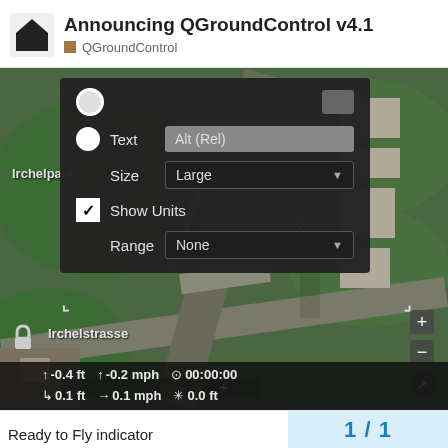Announcing QGroundControl v4.1 — QGroundControl
[Figure (screenshot): Screenshot of QGroundControl v4.1 aerial map view with an overlay popup showing instrument value configuration options: Text field showing 'Alt (Rel)', Size dropdown set to 'Large', Show Units checkbox (checked), Range dropdown set to 'None'. The map shows a satellite view of Irchelpark and Irchelstrasse area. Status bar shows telemetry values: -0.4 ft altitude, -0.2 mph speed, 00:00:00 time, 0.1 ft, 0.1 mph, 0.0 ft.]
Ready to Fly indicator
1 / 1